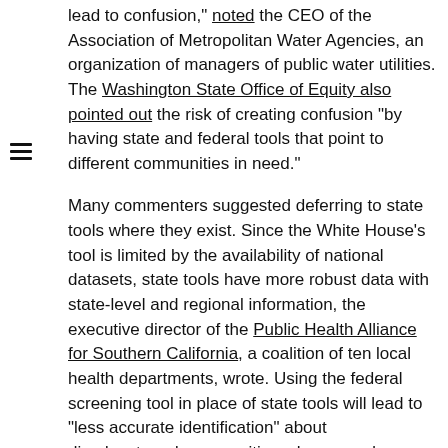lead to confusion," noted the CEO of the Association of Metropolitan Water Agencies, an organization of managers of public water utilities. The Washington State Office of Equity also pointed out the risk of creating confusion "by having state and federal tools that point to different communities in need."
Many commenters suggested deferring to state tools where they exist. Since the White House's tool is limited by the availability of national datasets, state tools have more robust data with state-level and regional information, the executive director of the Public Health Alliance for Southern California, a coalition of ten local health departments, wrote. Using the federal screening tool in place of state tools will lead to "less accurate identification" about disadvantaged communities, she warned.